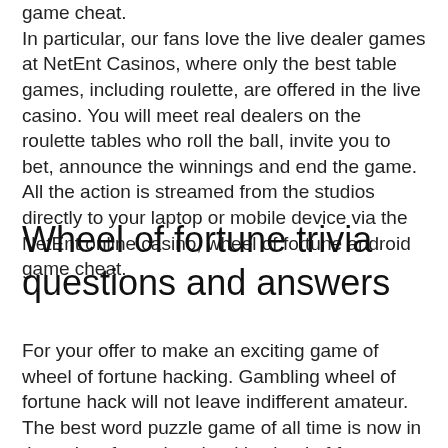game cheat.
In particular, our fans love the live dealer games at NetEnt Casinos, where only the best table games, including roulette, are offered in the live casino. You will meet real dealers on the roulette tables who roll the ball, invite you to bet, announce the winnings and end the game. All the action is streamed from the studios directly to your laptop or mobile device via the NetEnt online casino, wheel of fortune android game cheat.
Wheel of fortune trivia questions and answers
For your offer to make an exciting game of wheel of fortune hacking. Gambling wheel of fortune hack will not leave indifferent amateur. The best word puzzle game of all time is now in the palm of your hands with wheel of fortune. See if